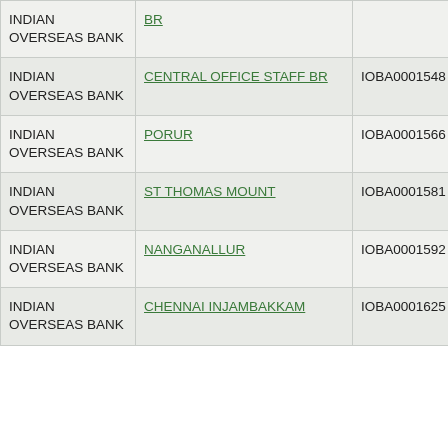| Bank Name | Branch | IFSC | Code |
| --- | --- | --- | --- |
| INDIAN OVERSEAS BANK | BR |  |  |
| INDIAN OVERSEAS BANK | CENTRAL OFFICE STAFF BR | IOBA0001548 | 6000 |
| INDIAN OVERSEAS BANK | PORUR | IOBA0001566 | 6000 |
| INDIAN OVERSEAS BANK | ST THOMAS MOUNT | IOBA0001581 | 6000 |
| INDIAN OVERSEAS BANK | NANGANALLUR | IOBA0001592 | 6000 |
| INDIAN OVERSEAS BANK | CHENNAI INJAMBAKKAM | IOBA0001625 | 6000 |